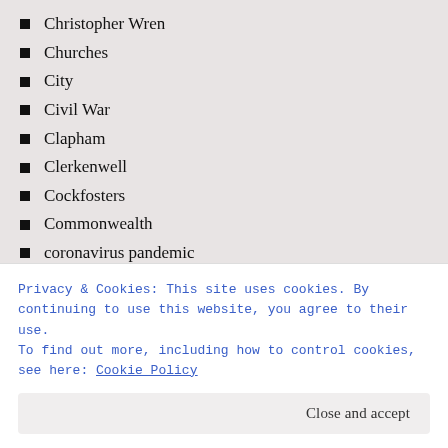Christopher Wren
Churches
City
Civil War
Clapham
Clerkenwell
Cockfosters
Commonwealth
coronavirus pandemic
Covent Garden
Croydon
Dagenham
David Garrick
Daytrips
Dissolution
Privacy & Cookies: This site uses cookies. By continuing to use this website, you agree to their use. To find out more, including how to control cookies, see here: Cookie Policy
Close and accept